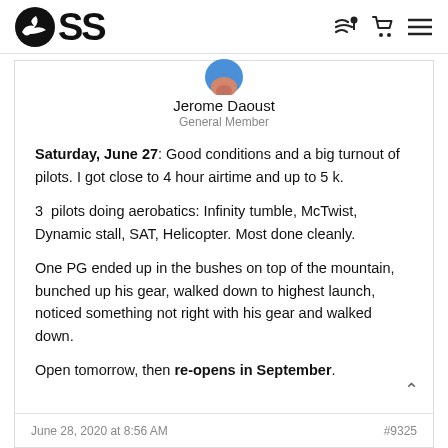CSS
[Figure (photo): Circular avatar photo of Jerome Daoust, partially cropped at top]
Jerome Daoust
General Member
Saturday, June 27: Good conditions and a big turnout of pilots. I got close to 4 hour airtime and up to 5 k.
3 pilots doing aerobatics: Infinity tumble, McTwist, Dynamic stall, SAT, Helicopter. Most done cleanly.
One PG ended up in the bushes on top of the mountain, bunched up his gear, walked down to highest launch, noticed something not right with his gear and walked down.
Open tomorrow, then re-opens in September.
June 28, 2020 at 8:56 AM  #9325